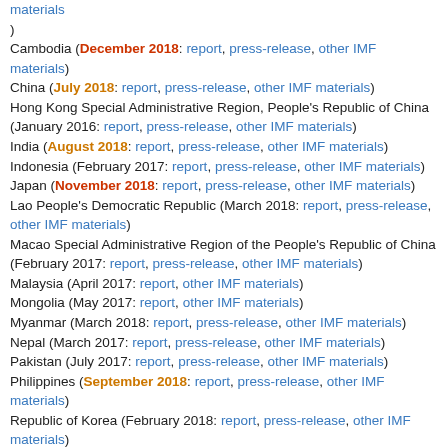materials)
Cambodia (December 2018: report, press-release, other IMF materials)
China (July 2018: report, press-release, other IMF materials)
Hong Kong Special Administrative Region, People's Republic of China (January 2016: report, press-release, other IMF materials)
India (August 2018: report, press-release, other IMF materials)
Indonesia (February 2017: report, press-release, other IMF materials)
Japan (November 2018: report, press-release, other IMF materials)
Lao People's Democratic Republic (March 2018: report, press-release, other IMF materials)
Macao Special Administrative Region of the People's Republic of China (February 2017: report, press-release, other IMF materials)
Malaysia (April 2017: report, other IMF materials)
Mongolia (May 2017: report, other IMF materials)
Myanmar (March 2018: report, press-release, other IMF materials)
Nepal (March 2017: report, press-release, other IMF materials)
Pakistan (July 2017: report, press-release, other IMF materials)
Philippines (September 2018: report, press-release, other IMF materials)
Republic of Korea (February 2018: report, press-release, other IMF materials)